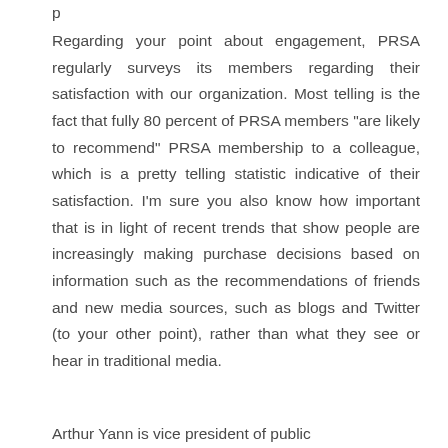Regarding your point about engagement, PRSA regularly surveys its members regarding their satisfaction with our organization. Most telling is the fact that fully 80 percent of PRSA members "are likely to recommend" PRSA membership to a colleague, which is a pretty telling statistic indicative of their satisfaction. I'm sure you also know how important that is in light of recent trends that show people are increasingly making purchase decisions based on information such as the recommendations of friends and new media sources, such as blogs and Twitter (to your other point), rather than what they see or hear in traditional media.
Arthur Yann is vice president of public